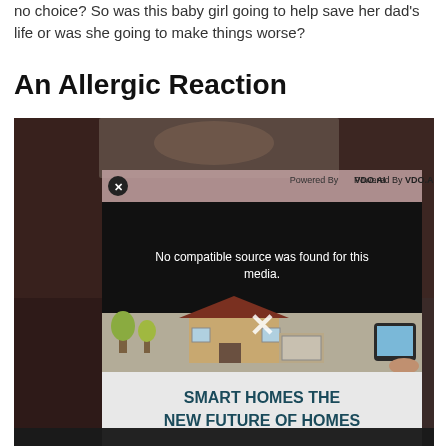no choice? So was this baby girl going to help save her dad's life or was she going to make things worse?
An Allergic Reaction
[Figure (screenshot): A screenshot of a webpage showing a video player overlay with a VDO.AI powered media player displaying 'No compatible source was found for this media.' with an X close button. Below the video player is an advertisement for 'SMART HOMES THE NEW FUTURE OF HOMES' showing an illustrated house with a smart device. The background shows a dark photographic image of a person.]